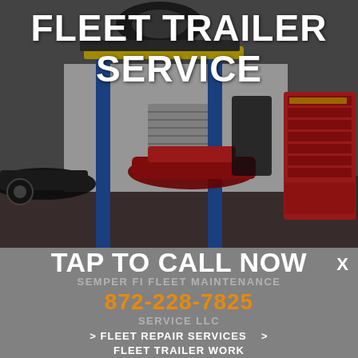[Figure (photo): Interior of an automotive repair garage. A vehicle is lifted on a blue hydraulic lift with yellow cross-member. A red car is visible in the background. A large red Snap-on tool chest is on the right. The garage has industrial lighting and various equipment.]
FLEET TRAILER SERVICE
X
TAP TO CALL NOW
SEMPER FI FLEET MAINTENANCE
872-228-7825
SERVICE LLC
> FLEET REPAIR SERVICES   > FLEET TRAILER WORK